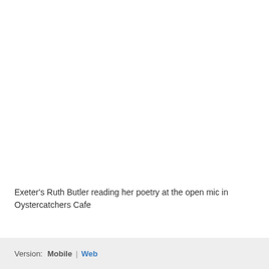Exeter's Ruth Butler reading her poetry at the open mic in Oystercatchers Cafe
Version:  Mobile  |  Web